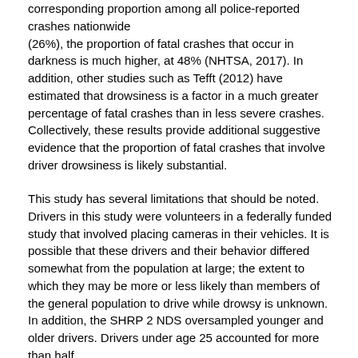corresponding proportion among all police-reported crashes nationwide (26%), the proportion of fatal crashes that occur in darkness is much higher, at 48% (NHTSA, 2017). In addition, other studies such as Tefft (2012) have estimated that drowsiness is a factor in a much greater percentage of fatal crashes than in less severe crashes. Collectively, these results provide additional suggestive evidence that the proportion of fatal crashes that involve driver drowsiness is likely substantial.
This study has several limitations that should be noted. Drivers in this study were volunteers in a federally funded study that involved placing cameras in their vehicles. It is possible that these drivers and their behavior differed somewhat from the population at large; the extent to which they may be more or less likely than members of the general population to drive while drowsy is unknown. In addition, the SHRP 2 NDS oversampled younger and older drivers. Drivers under age 25 accounted for more than half